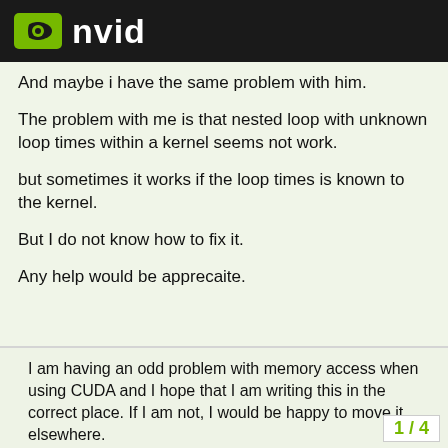NVID (NVIDIA logo)
And maybe i have the same problem with him.
The problem with me is that nested loop with unknown loop times within a kernel seems not work.
but sometimes it works if the loop times is known to the kernel.
But I do not know how to fix it.
Any help would be apprecaite.
I am having an odd problem with memory access when using CUDA and I hope that I am writing this in the correct place. If I am not, I would be happy to move it elsewhere.
I am using CUDA to process two large sets of data where each element of the first set i...
1 / 4